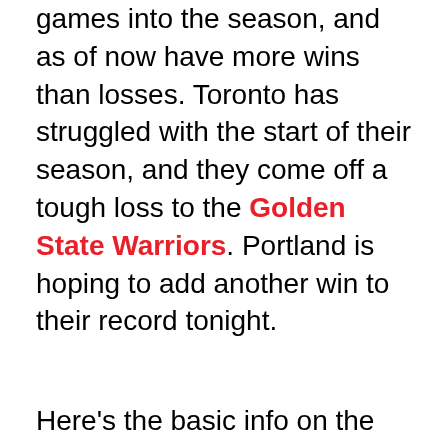games into the season, and as of now have more wins than losses. Toronto has struggled with the start of their season, and they come off a tough loss to the Golden State Warriors. Portland is hoping to add another win to their record tonight.
Here's the basic info on the game, courtesy of our